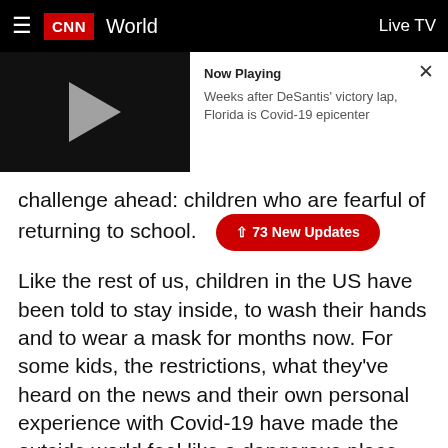≡ CNN World  Live TV
[Figure (screenshot): Video player thumbnail showing a dark screen with a grey play button triangle on the left, and 'Now Playing' panel on the right showing text: 'Weeks after DeSantis' victory lap, Florida is Covid-19 epicenter'. An X close button is in the top right corner.]
challenge ahead: children who are fearful of returning to school.
↑ 73 New Updates
Like the rest of us, children in the US have been told to stay inside, to wash their hands and to wear a mask for months now. For some kids, the restrictions, what they've heard on the news and their own personal experience with Covid-19 have made the outside world feel like a dangerous place.
He is different now, I can see that," said Rose